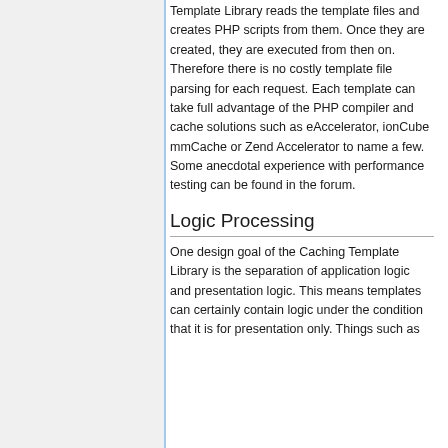Template Library reads the template files and creates PHP scripts from them. Once they are created, they are executed from then on. Therefore there is no costly template file parsing for each request. Each template can take full advantage of the PHP compiler and cache solutions such as eAccelerator, ionCube mmCache or Zend Accelerator to name a few. Some anecdotal experience with performance testing can be found in the forum.
Logic Processing
One design goal of the Caching Template Library is the separation of application logic and presentation logic. This means templates can certainly contain logic under the condition that it is for presentation only. Things such as...